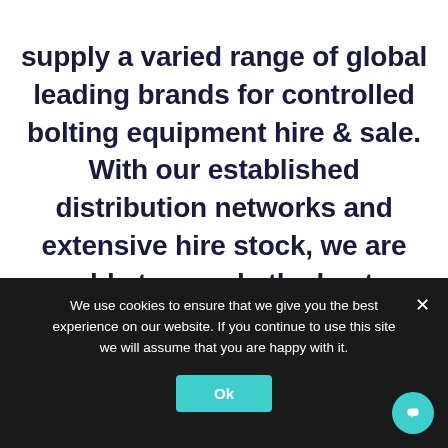supply a varied range of global leading brands for controlled bolting equipment hire & sale. With our established distribution networks and extensive hire stock, we are able to supply the best equipment available on the market. Including but not limited to SPX Bolting, SPX Powerteam, Norbar, Ingersoll Rand, Enerpac, Rapid Torc, Atlas Copco, Torque Safe and many
We use cookies to ensure that we give you the best experience on our website. If you continue to use this site we will assume that you are happy with it.